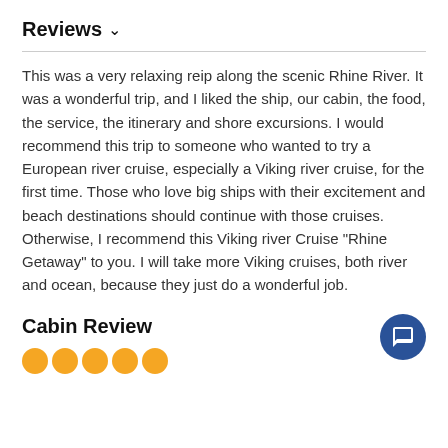Reviews ∨
This was a very relaxing reip along the scenic Rhine River. It was a wonderful trip, and I liked the ship, our cabin, the food, the service, the itinerary and shore excursions. I would recommend this trip to someone who wanted to try a European river cruise, especially a Viking river cruise, for the first time. Those who love big ships with their excitement and beach destinations should continue with those cruises. Otherwise, I recommend this Viking river Cruise "Rhine Getaway" to you. I will take more Viking cruises, both river and ocean, because they just do a wonderful job.
Cabin Review
[Figure (other): Five orange filled circle rating icons (5-star rating display)]